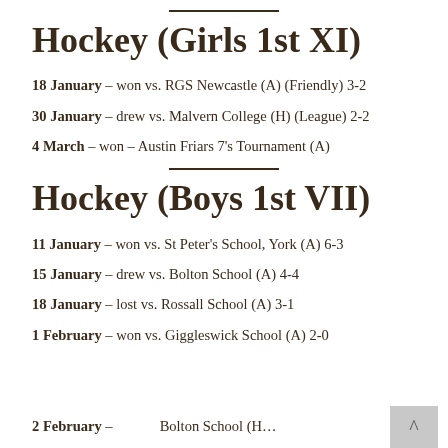Hockey (Girls 1st XI)
18 January – won vs. RGS Newcastle (A) (Friendly) 3-2
30 January – drew vs. Malvern College (H) (League) 2-2
4 March – won – Austin Friars 7's Tournament (A)
Hockey (Boys 1st VII)
11 January – won vs. St Peter's School, York (A) 6-3
15 January – drew vs. Bolton School (A) 4-4
18 January – lost vs. Rossall School (A) 3-1
1 February – won vs. Giggleswick School (A) 2-0
2 February – … Bolton School (H)…